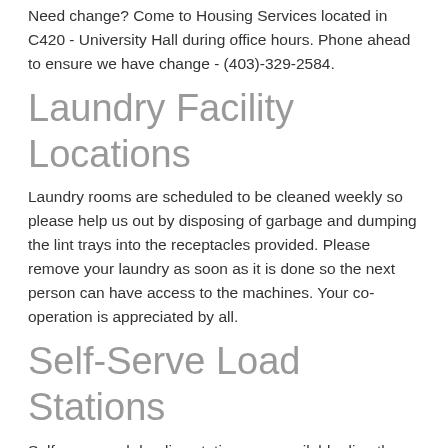Need change? Come to Housing Services located in C420 - University Hall during office hours. Phone ahead to ensure we have change - (403)-329-2584.
Laundry Facility Locations
Laundry rooms are scheduled to be cleaned weekly so please help us out by disposing of garbage and dumping the lint trays into the receptacles provided. Please remove your laundry as soon as it is done so the next person can have access to the machines. Your co-operation is appreciated by all.
Self-Serve Load Stations
Self-serve cash loading stations are available directly inside the Library, across from Tim Hortons in the